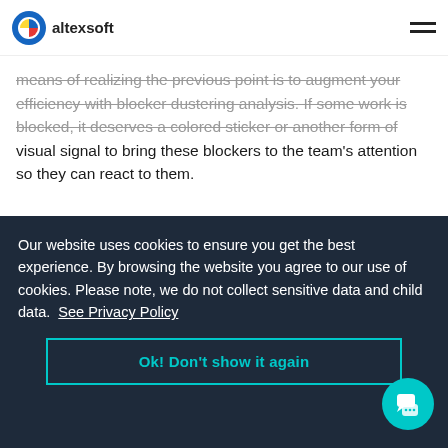altexsoft
means of realizing the previous point is to augment your efficiency with blocker dustering analysis. If some work is blocked, it deserves a colored sticker or another form of visual signal to bring these blockers to the team's attention so they can react to them.
Blockers
[Figure (illustration): Illustration showing blue sticky notes/cards labeled 'Blockers' including one prominent card with text 'Text and photos cooperation', scattered around in various orientations]
Our website uses cookies to ensure you get the best experience. By browsing the website you agree to our use of cookies. Please note, we do not collect sensitive data and child data. See Privacy Policy
Ok! Don't show it again